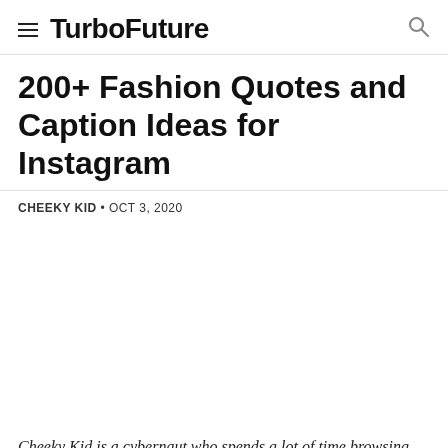TurboFuture
200+ Fashion Quotes and Caption Ideas for Instagram
CHEEKY KID • OCT 3, 2020
Cheeky Kid is a cybernaut who spends a lot of time browsing the web, experiencing infinite information...